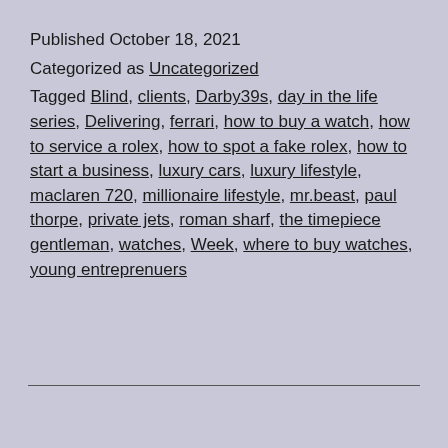Published October 18, 2021
Categorized as Uncategorized
Tagged Blind, clients, Darby39s, day in the life series, Delivering, ferrari, how to buy a watch, how to service a rolex, how to spot a fake rolex, how to start a business, luxury cars, luxury lifestyle, maclaren 720, millionaire lifestyle, mr.beast, paul thorpe, private jets, roman sharf, the timepiece gentleman, watches, Week, where to buy watches, young entreprenuers